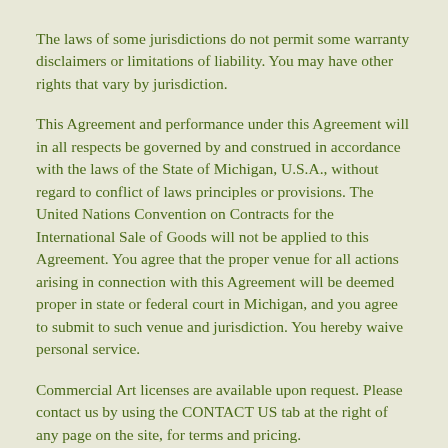The laws of some jurisdictions do not permit some warranty disclaimers or limitations of liability. You may have other rights that vary by jurisdiction.
This Agreement and performance under this Agreement will in all respects be governed by and construed in accordance with the laws of the State of Michigan, U.S.A., without regard to conflict of laws principles or provisions. The United Nations Convention on Contracts for the International Sale of Goods will not be applied to this Agreement. You agree that the proper venue for all actions arising in connection with this Agreement will be deemed proper in state or federal court in Michigan, and you agree to submit to such venue and jurisdiction. You hereby waive personal service.
Commercial Art licenses are available upon request. Please contact us by using the CONTACT US tab at the right of any page on the site, for terms and pricing.
Our policy ON HARD LINE NON-PERSONALIZED ITEMS SOLD is 30 days. If 30 days have gone by since your purchase,